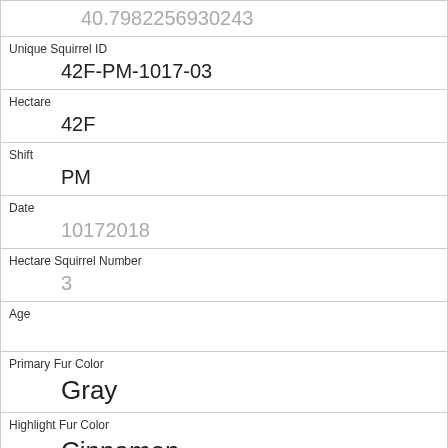| 40.7982256930243 |
| Unique Squirrel ID | 42F-PM-1017-03 |
| Hectare | 42F |
| Shift | PM |
| Date | 10172018 |
| Hectare Squirrel Number | 3 |
| Age |  |
| Primary Fur Color | Gray |
| Highlight Fur Color | Cinnamon |
| Combination of Primary and Highlight Color | Gray+Cinnamon |
| Color notes |  |